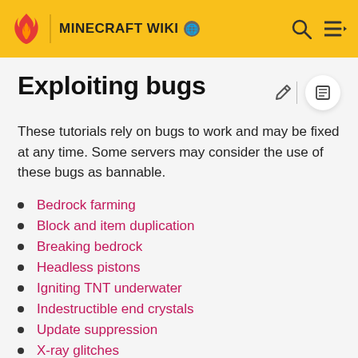MINECRAFT WIKI
Exploiting bugs
These tutorials rely on bugs to work and may be fixed at any time. Some servers may consider the use of these bugs as bannable.
Bedrock farming
Block and item duplication
Breaking bedrock
Headless pistons
Igniting TNT underwater
Indestructible end crystals
Update suppression
X-ray glitches